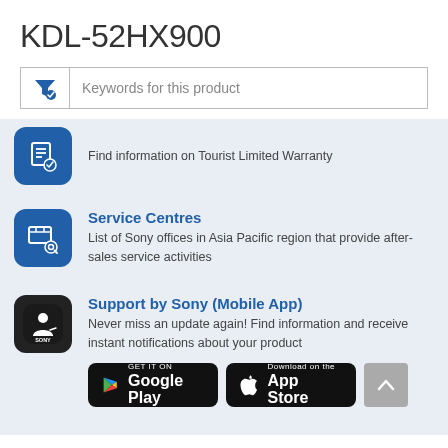KDL-52HX900
[Figure (screenshot): Search filter box with funnel icon and placeholder text 'Keywords for this product']
Find information on Tourist Limited Warranty
Service Centres
List of Sony offices in Asia Pacific region that provide after-sales service activities
Support by Sony (Mobile App)
Never miss an update again! Find information and receive instant notifications about your product
[Figure (screenshot): Google Play store badge and Apple App Store badge]
[Figure (other): Scroll to top button (grey arrow up)]